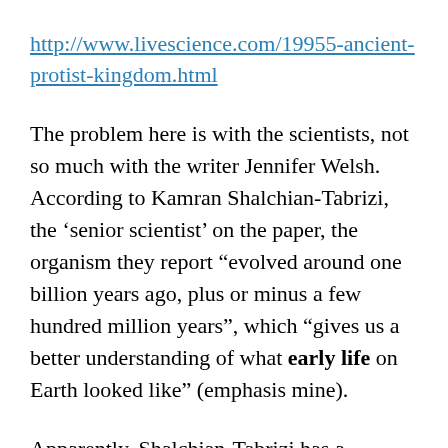http://www.livescience.com/19955-ancient-protist-kingdom.html
The problem here is with the scientists, not so much with the writer Jennifer Welsh. According to Kamran Shalchian-Tabrizi, the ‘senior scientist’ on the paper, the organism they report “evolved around one billion years ago, plus or minus a few hundred million years”, which “gives us a better understanding of what early life on Earth looked like” (emphasis mine).
Apparently, Shalchian-Tabrizi has a different perspective than most other scientists about when life started kicking on Earth. Maybe he